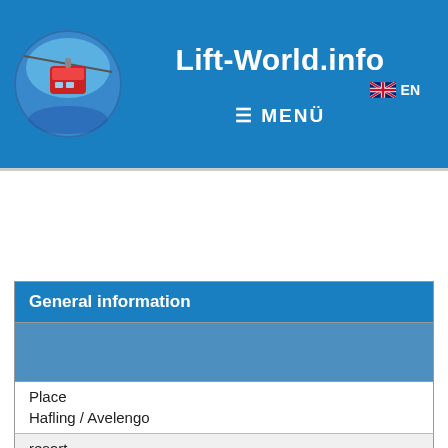Lift-World.info | MENÜ | EN
[Figure (logo): Circular logo with cable car gondola image on blue background]
| General information |
| --- |
|  |
| Place | Hafling / Avelengo |
| resort | ?? |
| Region | Trentino-South Tyrol |